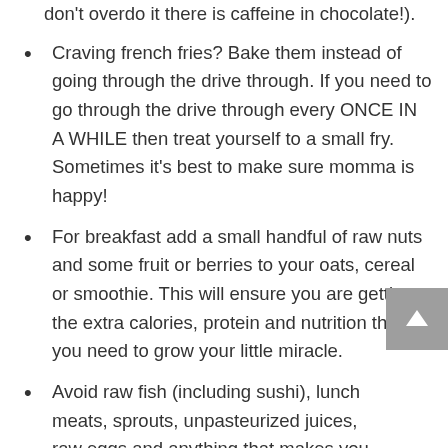don't overdo it there is caffeine in chocolate!).
Craving french fries? Bake them instead of going through the drive through. If you need to go through the drive through every ONCE IN A WHILE then treat yourself to a small fry. Sometimes it's best to make sure momma is happy!
For breakfast add a small handful of raw nuts and some fruit or berries to your oats, cereal or smoothie. This will ensure you are getting the extra calories, protein and nutrition that you need to grow your little miracle.
Avoid raw fish (including sushi), lunch meats, sprouts, unpasteurized juices, raw eggs and anything that makes you feel ill.
Eat plant-based? Continue to do so, just make